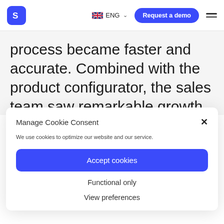S [logo] | ENG | Request a demo
process became faster and accurate. Combined with the product configurator, the sales team saw remarkable growth in offers,
Manage Cookie Consent
We use cookies to optimize our website and our service.
Accept cookies
Functional only
View preferences